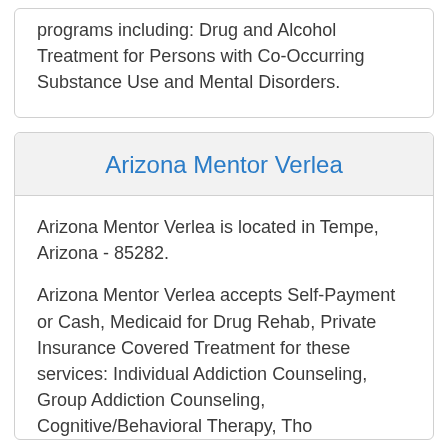programs including: Drug and Alcohol Treatment for Persons with Co-Occurring Substance Use and Mental Disorders.
Arizona Mentor Verlea
Arizona Mentor Verlea is located in Tempe, Arizona - 85282.
Arizona Mentor Verlea accepts Self-Payment or Cash, Medicaid for Drug Rehab, Private Insurance Covered Treatment for these services: Individual Addiction Counseling, Group Addiction Counseling, Cognitive/Behavioral Therapy, Tho...